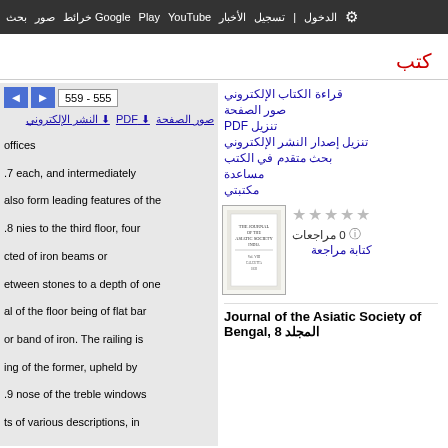بحث صور خرائط Google Play YouTube الأخبار تسجيل الدخول الإعدادات
كتب
555 - 559
صور الصفحة  PDF  النشر الإلكتروني
offices
.7 each, and intermediately
also form leading features of the
.8 nies to the third floor, four
cted of iron beams or
etween stones to a depth of one
al of the floor being of flat bar
or band of iron. The railing is
ing of the former, upheld by
.9 nose of the treble windows
ts of various descriptions, in
قراءة الكتاب الإلكتروني
صور الصفحة
تنزيل PDF
تنزيل إصدار النشر الإلكتروني
بحث متقدم في الكتب
مساعدة
مكتبتي
0 مراجعات
كتابة مراجعة
Journal of the Asiatic Society of Bengal, 8 المجلد